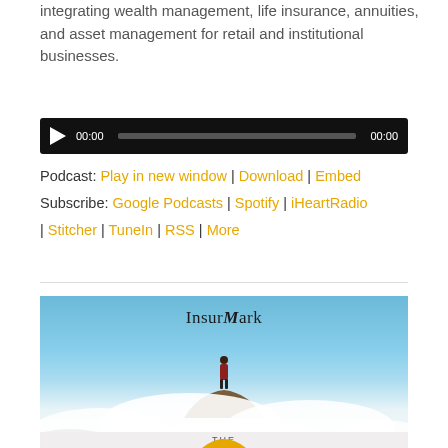integrating wealth management, life insurance, annuities, and asset management for retail and institutional businesses.
[Figure (screenshot): Audio player widget with black background, play button, progress bar, and timestamps showing 00:00]
Podcast: Play in new window | Download | Embed
Subscribe: Google Podcasts | Spotify | iHeartRadio | Stitcher | TuneIn | RSS | More
[Figure (photo): InsurMark branded image showing a person standing on a rocky cliff above clouds under a blue sky, with 'InsurMark' text at top and 'THE' text at bottom]